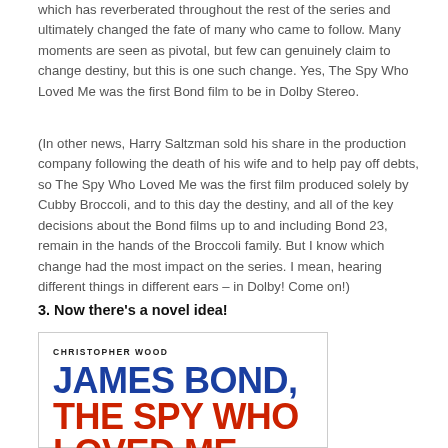which has reverberated throughout the rest of the series and ultimately changed the fate of many who came to follow. Many moments are seen as pivotal, but few can genuinely claim to change destiny, but this is one such change. Yes, The Spy Who Loved Me was the first Bond film to be in Dolby Stereo.
(In other news, Harry Saltzman sold his share in the production company following the death of his wife and to help pay off debts, so The Spy Who Loved Me was the first film produced solely by Cubby Broccoli, and to this day the destiny, and all of the key decisions about the Bond films up to and including Bond 23, remain in the hands of the Broccoli family. But I know which change had the most impact on the series. I mean, hearing different things in different ears – in Dolby! Come on!)
3. Now there's a novel idea!
[Figure (photo): Book cover of 'James Bond, The Spy Who Loved Me' by Christopher Wood, showing the title in large bold text with 'JAMES BOND,' in blue and 'THE SPY WHO LOVED ME' in red on a white background with a border.]